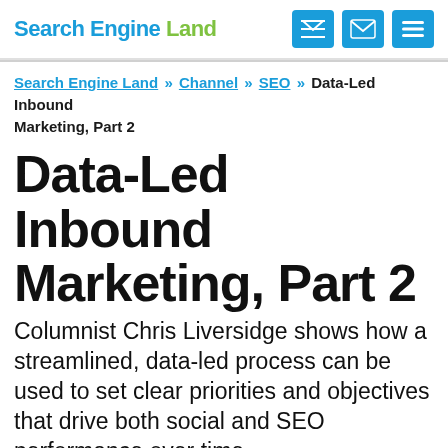Search Engine Land
Search Engine Land » Channel » SEO » Data-Led Inbound Marketing, Part 2
Data-Led Inbound Marketing, Part 2
Columnist Chris Liversidge shows how a streamlined, data-led process can be used to set clear priorities and objectives that drive both social and SEO performance over time.